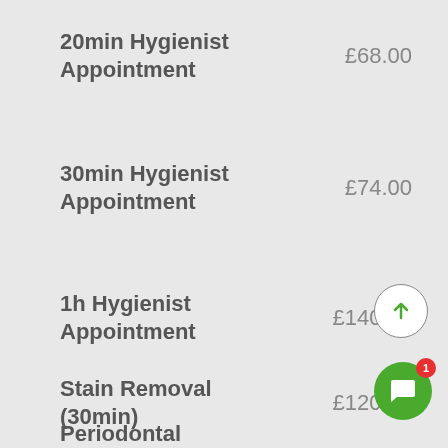20min Hygienist Appointment	£68.00
30min Hygienist Appointment	£74.00
1h Hygienist Appointment	£140.00
Stain Removal (30min)	£120.00
Periodontal